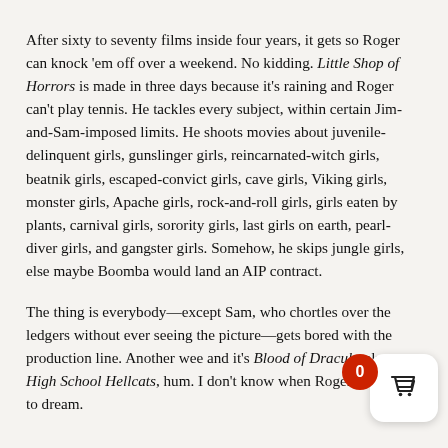After sixty to seventy films inside four years, it gets so Roger can knock 'em off over a weekend. No kidding. Little Shop of Horrors is made in three days because it's raining and Roger can't play tennis. He tackles every subject, within certain Jim-and-Sam-imposed limits. He shoots movies about juvenile-delinquent girls, gunslinger girls, reincarnated-witch girls, beatnik girls, escaped-convict girls, cave girls, Viking girls, monster girls, Apache girls, rock-and-roll girls, girls eaten by plants, carnival girls, sorority girls, last girls on earth, pearl-diver girls, and gangster girls. Somehow, he skips jungle girls, else maybe Boomba would land an AIP contract.
The thing is everybody—except Sam, who chortles over the ledgers without ever seeing the pictures—gets bored with the production line. Another week and it's Blood of Dracula plus High School Hellcats, hum. I don't know when Roger gets time to dream.